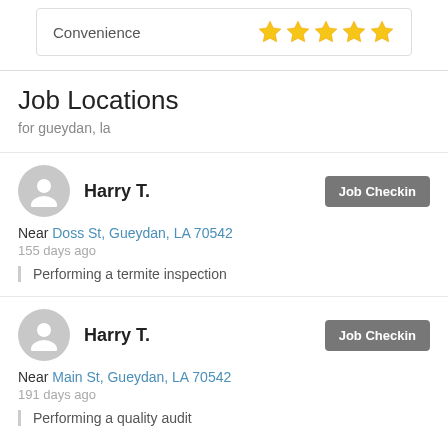| Category | Rating |
| --- | --- |
| Convenience | ★★★★★ |
Job Locations
for gueydan, la
Harry T.
Job Checkin
Near Doss St, Gueydan, LA 70542
155 days ago
Performing a termite inspection
Harry T.
Job Checkin
Near Main St, Gueydan, LA 70542
191 days ago
Performing a quality audit